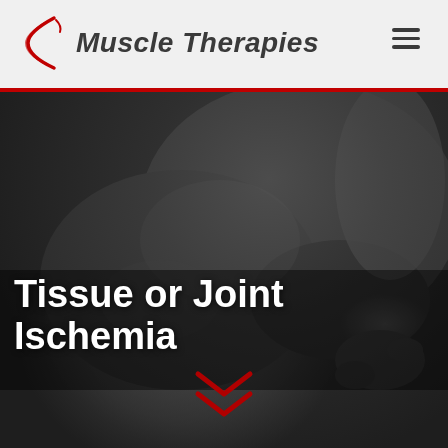Muscle Therapies
[Figure (photo): Grayscale close-up photo of hands performing muscle therapy / massage on a person's back or shoulder]
Tissue or Joint Ischemia